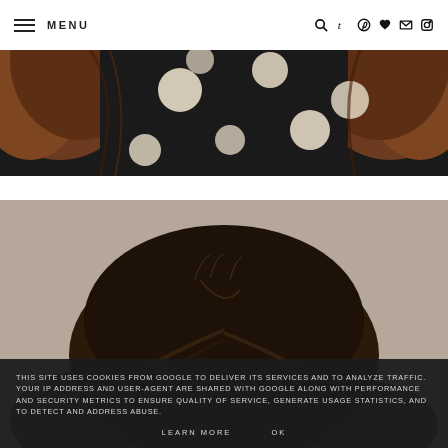MENU
[Figure (photo): Partial top view of a person with reddish-brown wavy hair wearing a black polka-dot dress, cropped at shoulder/head level]
[Figure (photo): Top of a person's head with dark brown hair against a gray-beige background, cropped showing only the top portion of the head]
THIS SITE USES COOKIES FROM GOOGLE TO DELIVER ITS SERVICES AND TO ANALYZE TRAFFIC. YOUR IP ADDRESS AND USER-AGENT ARE SHARED WITH GOOGLE ALONG WITH PERFORMANCE AND SECURITY METRICS TO ENSURE QUALITY OF SERVICE, GENERATE USAGE STATISTICS, AND TO DETECT AND ADDRESS ABUSE.
LEARN MORE   OK